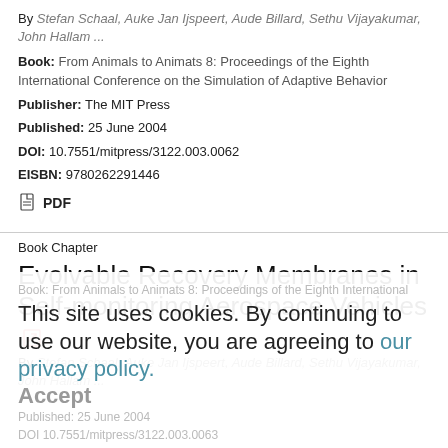By Stefan Schaal, Auke Jan Ijspeert, Aude Billard, Sethu Vijayakumar, John Hallam ...
Book: From Animals to Animats 8: Proceedings of the Eighth International Conference on the Simulation of Adaptive Behavior
Publisher: The MIT Press
Published: 25 June 2004
DOI: 10.7551/mitpress/3122.003.0062
EISBN: 9780262291446
PDF
Book Chapter
Evolvable Recovery Membranes in Self-monitoring Aerospace Vehicles
By Stefan Schaal, Auke Jan Ijspeert, Aude Billard, Sethu Vijayakumar, John Hallam ...
This site uses cookies. By continuing to use our website, you are agreeing to our privacy policy. Accept
DOI 10.7551/mitpress/3122.003.0063